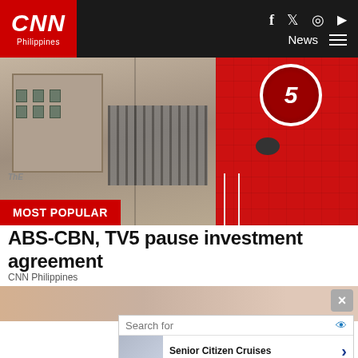CNN Philippines
[Figure (photo): Split hero image: left side shows ABS-CBN building with beige/tan facade and fence; right side shows TV5 building with red exterior and Channel 5 logo circle]
MOST POPULAR
ABS-CBN, TV5 pause investment agreement
CNN Philippines
[Figure (photo): Advertisement banner strip showing partial close-up photo (skin/hair) with X close button]
[Figure (infographic): Search advertisement widget with 'Search for' header, two items: 'Senior Citizen Cruises' and 'Cash Assistance Programs', with thumbnail images and arrows. Footer: Ad | Business Focus]